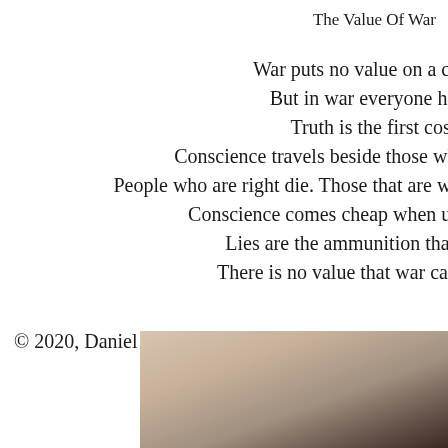The Value Of War
War puts no value on a cons
But in war everyone has a
Truth is the first cost of
Conscience travels beside those who t
People who are right die. Those that are wron
Conscience comes cheap when used
Lies are the ammunition that sp
There is no value that war canno
© 2020, Daniel Kemp All rights reserved.
[Figure (photo): Partial photo visible at bottom of page, showing a blurred warm-toned image with beige, tan and dark brown tones, likely a portrait or close-up photograph.]